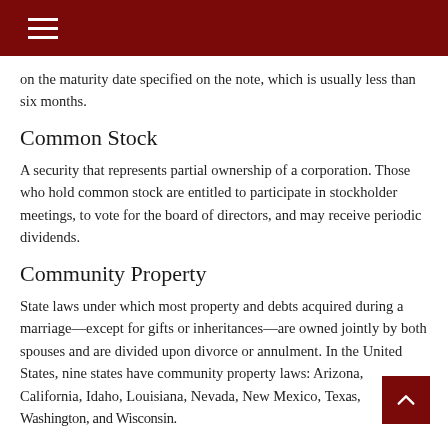on the maturity date specified on the note, which is usually less than six months.
Common Stock
A security that represents partial ownership of a corporation. Those who hold common stock are entitled to participate in stockholder meetings, to vote for the board of directors, and may receive periodic dividends.
Community Property
State laws under which most property and debts acquired during a marriage—except for gifts or inheritances—are owned jointly by both spouses and are divided upon divorce or annulment. In the United States, nine states have community property laws: Arizona, California, Idaho, Louisiana, Nevada, New Mexico, Texas, Washington, and Wisconsin.